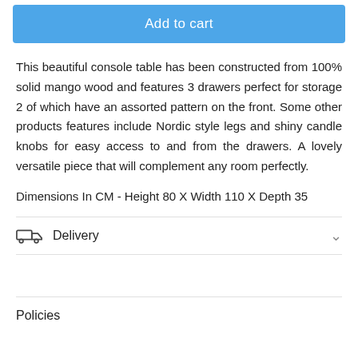Add to cart
This beautiful console table has been constructed from 100% solid mango wood and features 3 drawers perfect for storage 2 of which have an assorted pattern on the front. Some other products features include Nordic style legs and shiny candle knobs for easy access to and from the drawers. A lovely versatile piece that will complement any room perfectly.
Dimensions In CM - Height 80 X Width 110 X Depth 35
Delivery
Policies